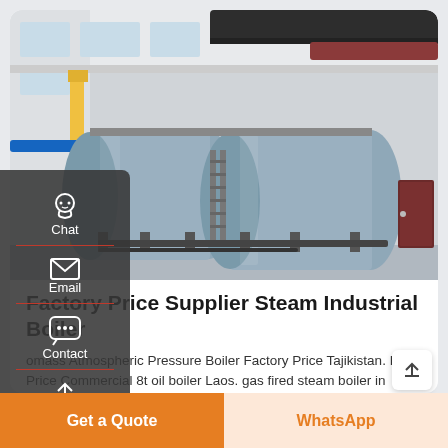[Figure (photo): Industrial boiler room interior with two large horizontal cylindrical steam boilers mounted on steel frames, with pipes and ladders, inside a white industrial building with windows]
Factory Price Supplier Steam Industrial Boiler
omass Atmospheric Pressure Boiler Factory Price Tajikistan. Low Price Commercial 8t oil boiler Laos. gas fired steam boiler in know. 6t Natural Gas steam boiler Top manufacturer Indonesia.
[Figure (infographic): Left sidebar with dark background showing Chat icon (headset), Email icon (envelope), and Contact icon (speech bubble with dots), each separated by a red horizontal divider line]
[Figure (other): Back-to-top arrow button (upward arrow inside white rounded square)]
Get a Quote
WhatsApp